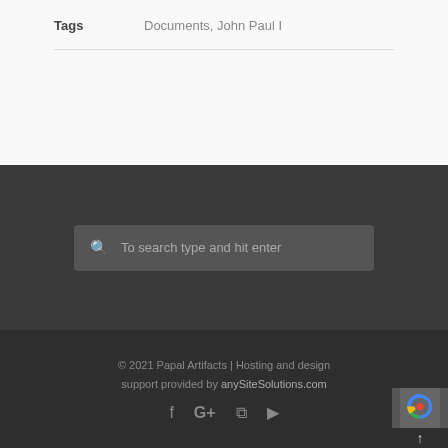| Tags | Documents, John Paul I |
To search type and hit enter
© 2021 Papal Artifacts | Hosting and design support provided by anySiteSolutions.com